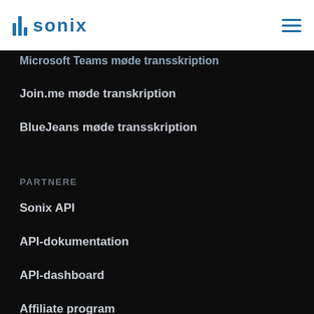[Figure (logo): Sonix logo with blue bar chart icon and blue text 'sonix']
Microsoft Teams møde transskription
Join.me møde transkription
BlueJeans møde transskription
PARTNERE
Sonix API
API-dokumentation
API-dashboard
Affiliate program
TRANSSKRIBERER DINE FILER